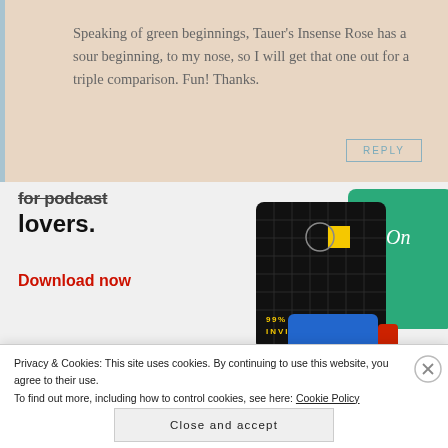Speaking of green beginnings, Tauer's Insense Rose has a sour beginning, to my nose, so I will get that one out for a triple comparison. Fun! Thanks.
REPLY
[Figure (screenshot): Podcast app advertisement showing bold text 'for podcast lovers.' with a red 'Download now' link and app card images including a '99% Invisible' podcast card on a black grid background and a green card.]
Privacy & Cookies: This site uses cookies. By continuing to use this website, you agree to their use.
To find out more, including how to control cookies, see here: Cookie Policy
Close and accept